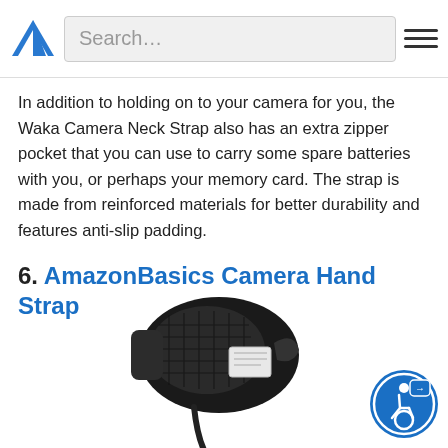Search…
In addition to holding on to your camera for you, the Waka Camera Neck Strap also has an extra zipper pocket that you can use to carry some spare batteries with you, or perhaps your memory card. The strap is made from reinforced materials for better durability and features anti-slip padding.
6. AmazonBasics Camera Hand Strap
[Figure (photo): Photo of the AmazonBasics Camera Hand Strap — a black padded camera hand strap shown from the front, with mesh grip panel and adjustable strap visible.]